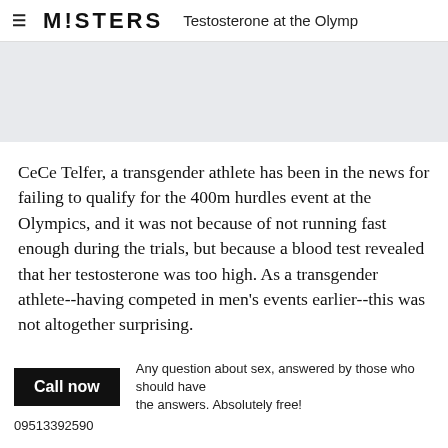≡ M!STERS  Testosterone at the Olymp
[Figure (other): Gray banner/advertisement area]
CeCe Telfer, a transgender athlete has been in the news for failing to qualify for the 400m hurdles event at the Olympics, and it was not because of not running fast enough during the trials, but because a blood test revealed that her testosterone was too high. As a transgender athlete--having competed in men's events earlier--this was not altogether surprising.
Call now   Any question about sex, answered by those who should have the answers. Absolutely free!
09513392590